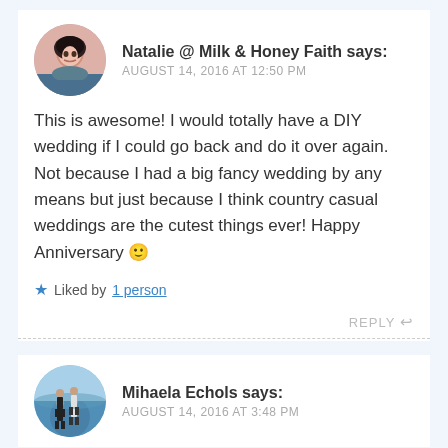Natalie @ Milk & Honey Faith says: AUGUST 14, 2016 AT 12:50 PM
This is awesome! I would totally have a DIY wedding if I could go back and do it over again. Not because I had a big fancy wedding by any means but just because I think country casual weddings are the cutest things ever! Happy Anniversary 🙂
★ Liked by 1 person
REPLY ↩
Mihaela Echols says: AUGUST 14, 2016 AT 3:48 PM